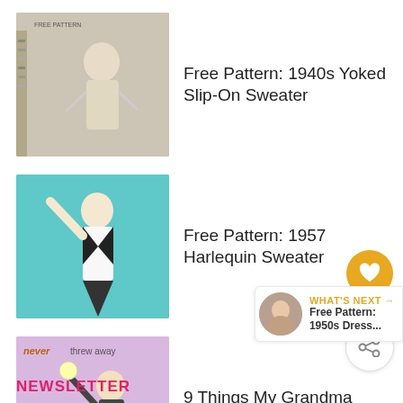Free Pattern: 1940s Yoked Slip-On Sweater
Free Pattern: 1957 Harlequin Sweater
9 Things My Grandma Never Threw Away
20 Free 1950s Style Dress Patterns
WHAT'S NEXT → Free Pattern: 1950s Dress...
NEWSLETTER